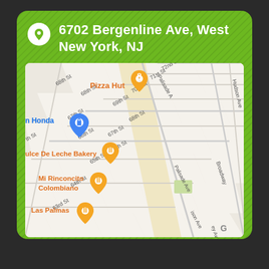6702 Bergenline Ave, West New York, NJ
[Figure (map): Google Maps screenshot showing street map of West New York, NJ area near Bergenline Ave, with orange restaurant pins for Pizza Hut, Dulce De Leche Bakery, Mi Rinconcito Colombiano, Las Palmas, and a blue shopping pin for n Honda. Street grid shows 63rd-72nd Streets and avenues including Palisade Ave, Hudson Ave, Broadway.]